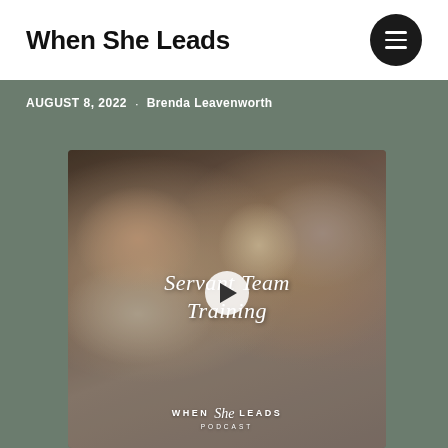When She Leads
AUGUST 8, 2022 · Brenda Leavenworth
[Figure (photo): Podcast episode thumbnail for 'When She Leads' showing three women smiling and talking, with script text overlay reading 'Servant Team Training' and a play button in the center. Bottom shows 'WHEN She LEADS PODCAST' branding.]